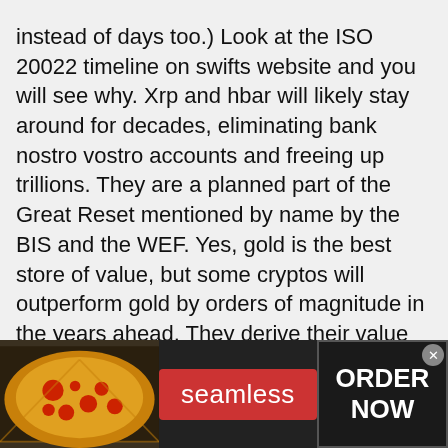instead of days too.) Look at the ISO 20022 timeline on swifts website and you will see why. Xrp and hbar will likely stay around for decades, eliminating bank nostro vostro accounts and freeing up trillions. They are a planned part of the Great Reset mentioned by name by the BIS and the WEF. Yes, gold is the best store of value, but some cryptos will outperform gold by orders of magnitude in the years ahead. They derive their value from improving the current system. Being ethereal is irrelevant if functionality is improved by them. I hold both gold and these cryptos.
Len Penzo says 10
[Figure (screenshot): Seamless food delivery advertisement banner with pizza image on left, red Seamless button in center, and ORDER NOW button on right with close X button]